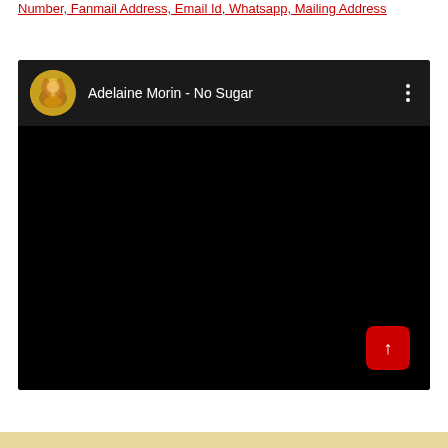Number, Fanmail Address, Email Id, Whatsapp, Mailing Address
[Figure (screenshot): Embedded video player screenshot showing 'Adelaine Morin - No Sugar' with a circular avatar thumbnail of a woman in golden/yellow outfit, dark header bar with three-dot menu, and black video content area. A red scroll-to-top button with an upward arrow is overlaid in the bottom-right corner.]